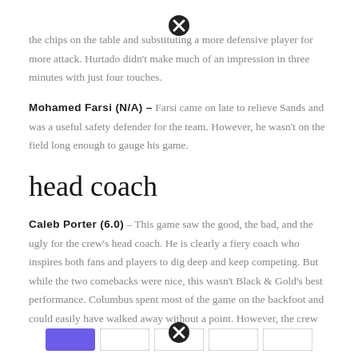the chips on the table and substituting a more defensive player for more attack. Hurtado didn't make much of an impression in three minutes with just four touches.
Mohamed Farsi (N/A) – Farsi came on late to relieve Sands and was a useful safety defender for the team. However, he wasn't on the field long enough to gauge his game.
head coach
Caleb Porter (6.0) – This game saw the good, the bad, and the ugly for the crew's head coach. He is clearly a fiery coach who inspires both fans and players to dig deep and keep competing. But while the two comebacks were nice, this wasn't Black & Gold's best performance. Columbus spent most of the game on the backfoot and could easily have walked away without a point. However, the crew did, and both credit and blame goes to Porter.